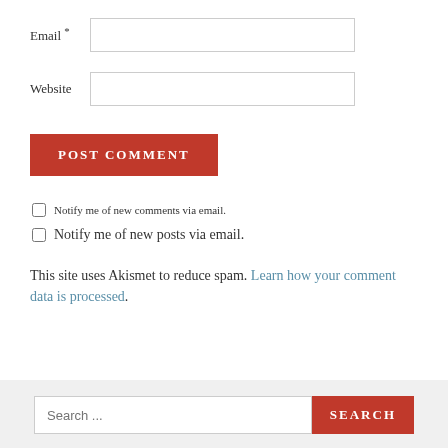Email *
Website
POST COMMENT
Notify me of new comments via email.
Notify me of new posts via email.
This site uses Akismet to reduce spam. Learn how your comment data is processed.
Search ...